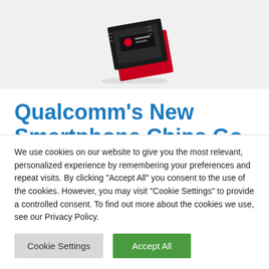[Figure (photo): Qualcomm Snapdragon chip/processor shown from above on a white/light gray background]
Qualcomm's New Smartphone Chips Go After Mid-Tier Asian Markets, Straight At MediaTek
We use cookies on our website to give you the most relevant, personalized experience by remembering your preferences and repeat visits. By clicking "Accept All" you consent to the use of the cookies. However, you may visit "Cookie Settings" to provide a controlled consent. To find out more about the cookies we use, see our Privacy Policy.